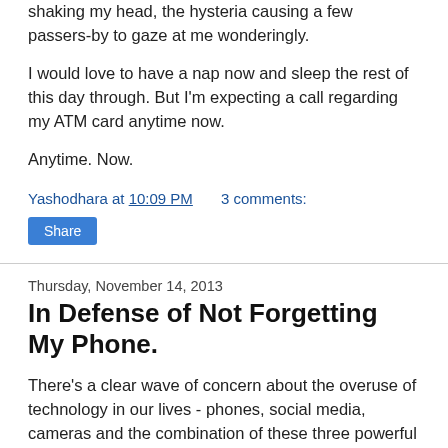shaking my head, the hysteria causing a few passers-by to gaze at me wonderingly.
I would love to have a nap now and sleep the rest of this day through. But I'm expecting a call regarding my ATM card anytime now.
Anytime. Now.
Yashodhara at 10:09 PM   3 comments:
Share
Thursday, November 14, 2013
In Defense of Not Forgetting My Phone.
There's a clear wave of concern about the overuse of technology in our lives - phones, social media, cameras and the combination of these three powerful forces is resulting in our missing the moment and disconnecting from real relationships. This is showcased by the now-famous 'I forgot